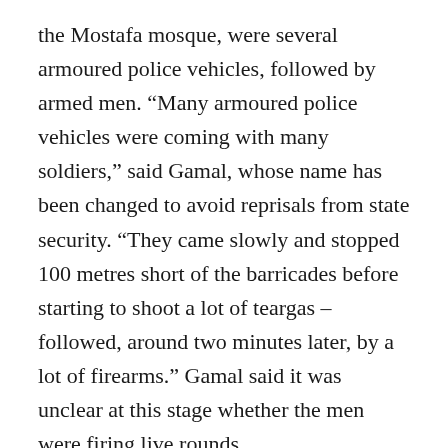the Mostafa mosque, were several armoured police vehicles, followed by armed men. “Many armoured police vehicles were coming with many soldiers,” said Gamal, whose name has been changed to avoid reprisals from state security. “They came slowly and stopped 100 metres short of the barricades before starting to shoot a lot of teargas – followed, around two minutes later, by a lot of firearms.” Gamal said it was unclear at this stage whether the men were firing live rounds.
Realising the gravity of what he was witnessing, Gamal fetched a camera and began record the scene on video. The time on his watch, he said,